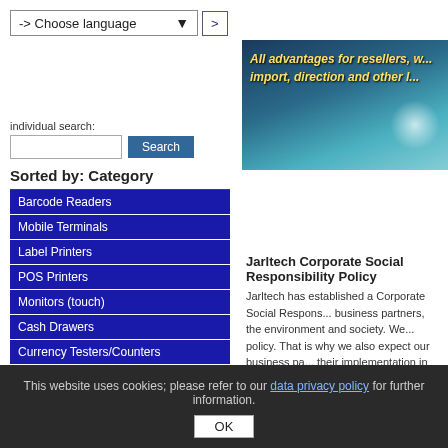[Figure (screenshot): Language selector dropdown showing '-> Choose language' with a dropdown arrow and a '>' button]
[Figure (photo): Banner image with text 'All advantages for resellers, w... import, direction and other l...' over a dark blue/teal abstract background]
individual search:
[Figure (screenshot): Search input box and Search button]
Sorted by: Category
Barcode Readers
Mobile Terminals
Label Printers
POS Printers
Monitors (touch)
Cash Drawers
Currency Testers/Counters
Customer Displays
Jarltech Corporate Social Responsibility Policy
Jarltech has established a Corporate Social Respons... business partners, the environment and society. We... policy. That is why we also expect our business pa... their implementation in your business, to the extent...
This website uses cookies; please refer to our data privacy policy for further information.
OK